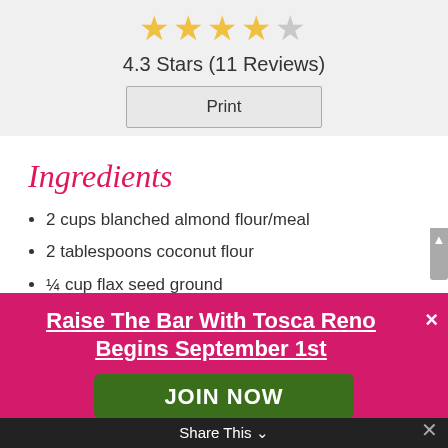[Figure (other): Star rating: 4.3 stars out of 5, shown as 4 gold stars and 1 partial/grey star]
4.3 Stars (11 Reviews)
Print
Ingredients
2 cups blanched almond flour/meal
2 tablespoons coconut flour
¼ cup flax seed ground
¼ cup chia seed
Raise The Bar With Tosca Reno Begins September 1st
JOIN NOW
Share This ∨